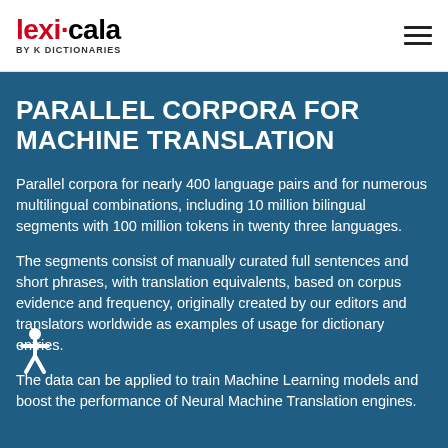lexicala by K DICTIONARIES
PARALLEL CORPORA FOR MACHINE TRANSLATION
Parallel corpora for nearly 400 language pairs and for numerous multilingual combinations, including 10 million bilingual segments with 100 million tokens in twenty three languages.
The segments consist of manually curated full sentences and short phrases, with translation equivalents, based on corpus evidence and frequency, originally created by our editors and translators worldwide as examples of usage for dictionary entries.
The data can be applied to train Machine Learning models and boost the performance of Neural Machine Translation engines.